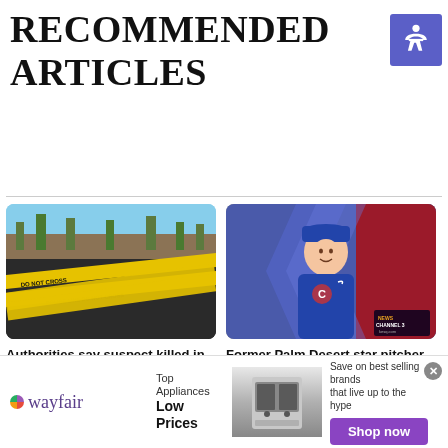RECOMMENDED ARTICLES
[Figure (photo): Crime scene photo with yellow police tape in the foreground and a parking lot with palm trees in the background]
Authorities say suspect killed in Thousand Palms shooting assaulted a man - KESQ
[Figure (photo): Baseball player in Chicago Cubs blue uniform smiling, with News Channel 3 badge in corner]
Former Palm Desert star pitcher Jeremiah Estrada impresses in MLB debut for Chicago Cubs - KESQ
[Figure (photo): Wayfair advertisement banner: Top Appliances Low Prices with appliance image and Shop now button]